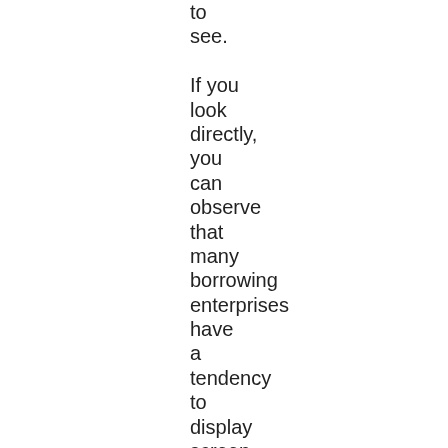to see. If you look directly, you can observe that many borrowing enterprises have a tendency to display screen an equivalent information. Nevertheless, it will be unverifiable